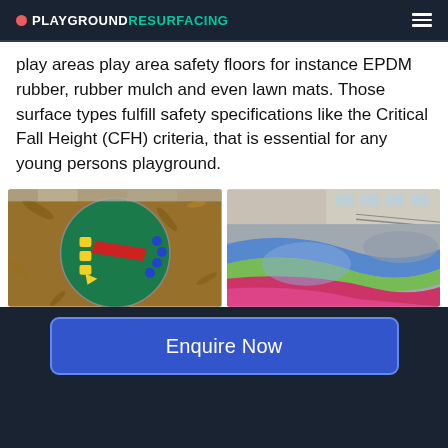PLAYGROUND RESURFACING
play areas play area safety floors for instance EPDM rubber, rubber mulch and even lawn mats. Those surface types fulfill safety specifications like the Critical Fall Height (CFH) criteria, that is essential for any young persons playground.
[Figure (photo): Aerial view of a circular green rubber playground mat with colorful shapes (yellow, red, blue) surrounded by wood chip mulch in a schoolyard.]
[Figure (photo): Colorful swirling rubber playground surface with red, blue, green, and grey spiral patterns at a school playground with fencing in the background.]
Enquire Now